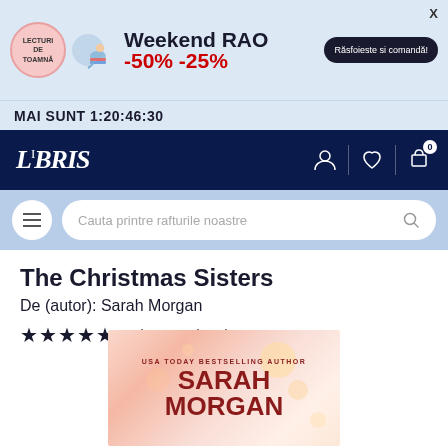[Figure (screenshot): Weekend RAO promotional banner with -50% -25% discount, badge reading LECTURI DE TOAMNA, illustration of person reading, and button Rasfoisete si comanda!]
MAI SUNT 1:20:46:30
[Figure (logo): LIBRIS website logo in white on dark navy background with user, heart, and cart icons]
[Figure (screenshot): Search bar with hamburger menu and placeholder text Cauta printre rafturile noastre]
The Christmas Sisters
De (autor): Sarah Morgan
★★★★★ review Goodreads
[Figure (photo): Book cover showing Sarah Morgan name in large red letters on a soft pink/peach bokeh background, with USA TODAY BESTSELLING AUTHOR text at top]